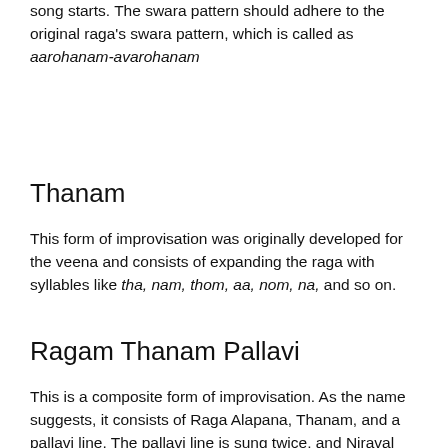song starts. The swara pattern should adhere to the original raga's swara pattern, which is called as aarohanam-avarohanam
Thanam
This form of improvisation was originally developed for the veena and consists of expanding the raga with syllables like tha, nam, thom, aa, nom, na, and so on.
Ragam Thanam Pallavi
This is a composite form of improvisation. As the name suggests, it consists of Raga Alapana, Thanam, and a pallavi line. The pallavi line is sung twice, and Niraval follows. After Niraval, the pallavi line is sung again, twice in normal speed, then once more at half the speed, then twice at double speed, then again at normal speed. Kalpanaswaram follows.
[Figure (other): Advertisement banner: Tailored ad management solutions for every publisher - FREESTA with Learn More button, dark blue background with illustrative graphic]